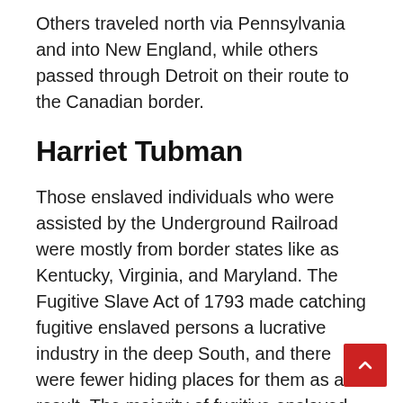Others traveled north via Pennsylvania and into New England, while others passed through Detroit on their route to the Canadian border.
Harriet Tubman
Those enslaved individuals who were assisted by the Underground Railroad were mostly from border states like as Kentucky, Virginia, and Maryland. The Fugitive Slave Act of 1793 made catching fugitive enslaved persons a lucrative industry in the deep South, and there were fewer hiding places for them as a result. The majority of fugitive enslaved individuals were on their own until they reached specific northern regions. The